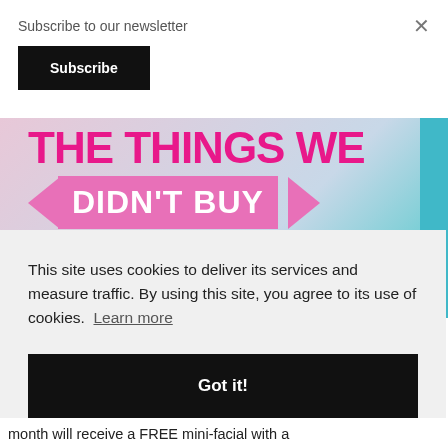Subscribe to our newsletter
Subscribe
×
[Figure (illustration): Promotional banner image with large pink bold text 'THE THINGS WE' on top line, and a pink ribbon banner reading 'DIDN'T BUY' with arrows on each side, on a pastel gradient background]
This site uses cookies to deliver its services and measure traffic. By using this site, you agree to its use of cookies. Learn more
Got it!
month will receive a FREE mini-facial with a